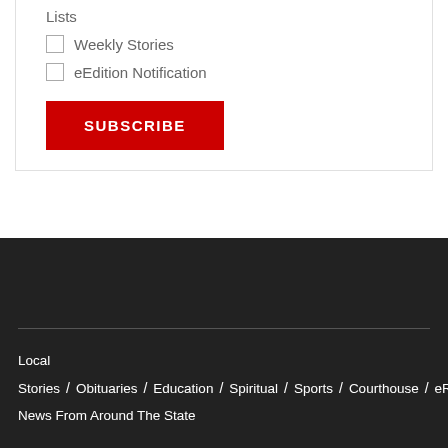Lists
Weekly Stories
eEdition Notification
SUBSCRIBE
Local Stories / Obituaries / Education / Spiritual / Sports / Courthouse / eRecord / News From Around The State